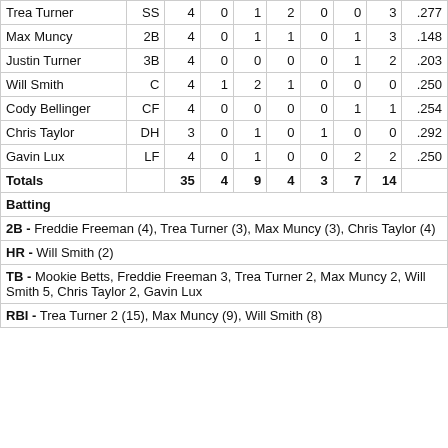| Player | Pos | AB | R | H | RBI | BB | SO | LOB | AVG |
| --- | --- | --- | --- | --- | --- | --- | --- | --- | --- |
| Trea Turner | SS | 4 | 0 | 1 | 2 | 0 | 0 | 3 | .277 |
| Max Muncy | 2B | 4 | 0 | 1 | 1 | 0 | 1 | 3 | .148 |
| Justin Turner | 3B | 4 | 0 | 0 | 0 | 0 | 1 | 2 | .203 |
| Will Smith | C | 4 | 1 | 2 | 1 | 0 | 0 | 0 | .250 |
| Cody Bellinger | CF | 4 | 0 | 0 | 0 | 0 | 1 | 1 | .254 |
| Chris Taylor | DH | 3 | 0 | 1 | 0 | 1 | 0 | 0 | .292 |
| Gavin Lux | LF | 4 | 0 | 1 | 0 | 0 | 2 | 2 | .250 |
| Totals |  | 35 | 4 | 9 | 4 | 3 | 7 | 14 |  |
Batting
2B - Freddie Freeman (4), Trea Turner (3), Max Muncy (3), Chris Taylor (4)
HR - Will Smith (2)
TB - Mookie Betts, Freddie Freeman 3, Trea Turner 2, Max Muncy 2, Will Smith 5, Chris Taylor 2, Gavin Lux
RBI - Trea Turner 2 (15), Max Muncy (9), Will Smith (8)